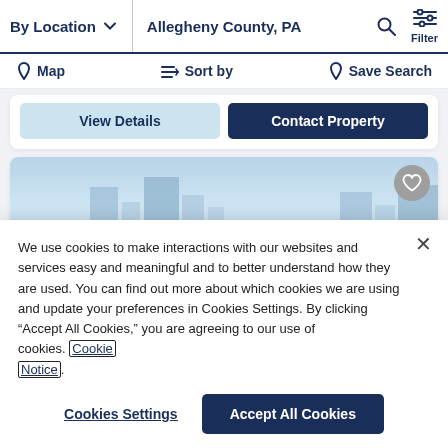By Location   Allegheny County, PA   Filter
Map   Sort by   Save Search
[Figure (screenshot): Partial property listing card with 'View Details' and 'Contact Property' buttons]
[Figure (screenshot): Partial property listing card with building image and heart/favorite button]
We use cookies to make interactions with our websites and services easy and meaningful and to better understand how they are used. You can find out more about which cookies we are using and update your preferences in Cookies Settings. By clicking “Accept All Cookies,” you are agreeing to our use of cookies. Cookie Notice.
Cookies Settings
Accept All Cookies